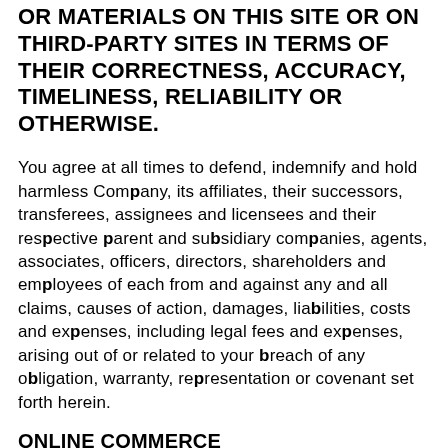OR MATERIALS ON THIS SITE OR ON THIRD-PARTY SITES IN TERMS OF THEIR CORRECTNESS, ACCURACY, TIMELINESS, RELIABILITY OR OTHERWISE.
You agree at all times to defend, indemnify and hold harmless Company, its affiliates, their successors, transferees, assignees and licensees and their respective parent and subsidiary companies, agents, associates, officers, directors, shareholders and employees of each from and against any and all claims, causes of action, damages, liabilities, costs and expenses, including legal fees and expenses, arising out of or related to your breach of any obligation, warranty, representation or covenant set forth herein.
ONLINE COMMERCE